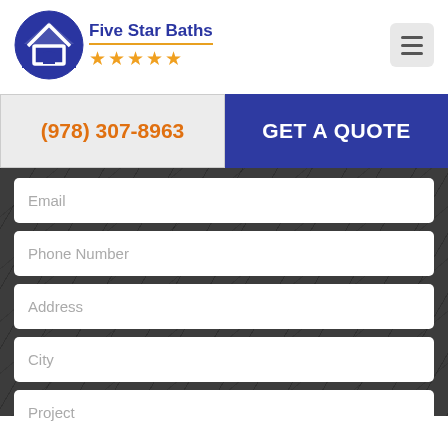[Figure (logo): Five Star Baths logo with blue house icon and five orange stars]
(978) 307-8963
GET A QUOTE
Email
Phone Number
Address
City
Project